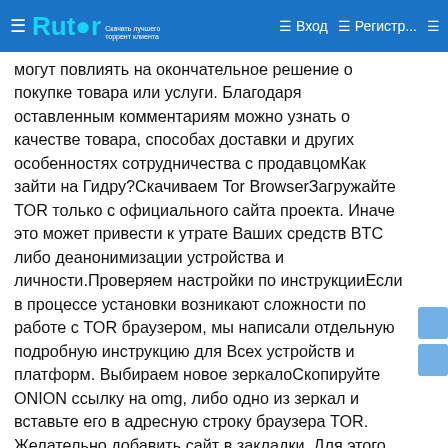Rutor | Вход | Регистр...
могут повлиять на окончательное решение о покупке товара или услуги. Благодаря оставленным комментариям можно узнать о качестве товара, способах доставки и других особенностях сотрудничества с продавцомКак зайти на Гидру?Скачиваем Tor BrowserЗагружайте TOR только с официального сайта проекта. Иначе это может привести к утрате Ваших средств BTC либо деанонимизации устройства и личности.Проверяем настройки по инструкцииЕсли в процессе установки возникают сложности по работе с TOR браузером, мы написали отдельную подробную инструкцию для Всех устройств и платформ. Выбираем новое зеркалоСкопируйте ONION ссылку на omg, либо одно из зеркал и вставьте его в адресную строку браузера TOR. Желательно добавить сайт в закладки. Для этого необходимо нажать на кнопку ниже и подтвердить выполненное действие в сплывающем окне сайта. Таким образом у Вас будет всегда акутальная информация о новых зеркалах 2021.Регистрируемся на площадкеВведите код для капчи, затем выберите в верхнем правом углу пункт "Регистрация". Далее придумайте уникальный логин